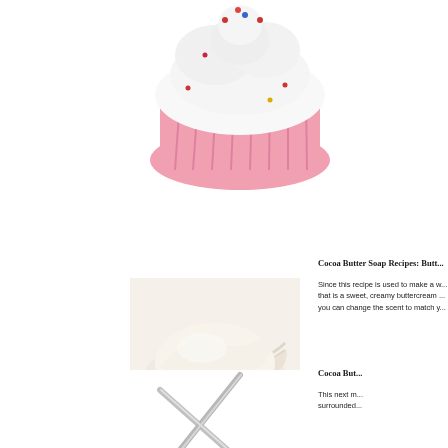[Figure (photo): A decorative cupcake soap with pink ribbed cup and white frosting topped with colorful sprinkles]
[Figure (photo): Close-up of white creamy buttercream frosting swirled texture]
Cocoa Butter Soap Recipes: Butt...
Since this recipe is used to make a w... that is a sweet, creamy buttercream ... you can change the scent to match y...
Cocoa But...
This next m... surrounded...
[Figure (photo): Two metal rods or sticks crossing diagonally]